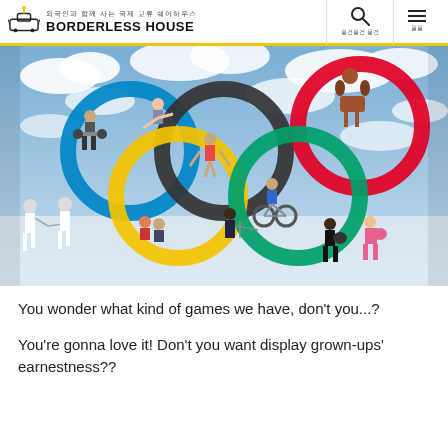외국인과 함께 사는 국제 교류 쉐어하우스 BORDERLESS HOUSE
[Figure (photo): Olympic rings montage with athletes from various sports including weightlifting, gymnastics, cycling, equestrian, archery, wrestling, fencing, and boxing, set against a cloudy sky background.]
You wonder what kind of games we have, don't you...?
You're gonna love it! Don't you want display grown-ups' earnestness??